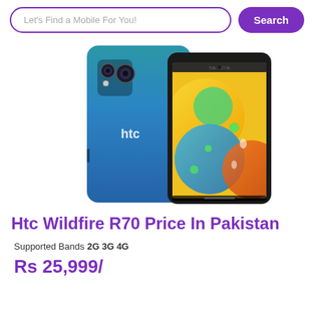Let's Find a Mobile For You! | Search
[Figure (photo): HTC Wildfire R70 smartphone shown from two angles: back view (teal/blue gradient with dual cameras and HTC logo) and front view (display showing colorful bubble wallpaper with date TUE. OCT 06)]
Htc Wildfire R70 Price In Pakistan
Supported Bands  2G 3G 4G
Rs 25,999/